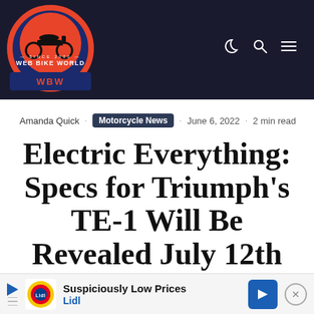[Figure (logo): Web Bike World logo — red/orange circular emblem with motorcycle silhouette on dark navy background, text 'WEB BIKE WORLD SINCE 2000 WBW']
Web Bike World — navigation icons: moon/dark-mode, search, menu
Amanda Quick · Motorcycle News · June 6, 2022 · 2 min read
Electric Everything: Specs for Triumph's TE-1 Will Be Revealed July 12th
New Electric Prototype Completes
[Figure (screenshot): Lidl advertisement banner: 'Suspiciously Low Prices / Lidl' with Lidl logo and blue arrow button]